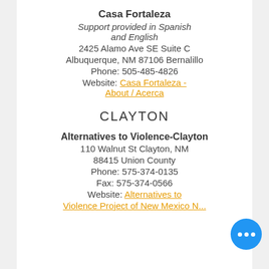Casa Fortaleza
Support provided in Spanish and English
2425 Alamo Ave SE Suite C
Albuquerque, NM 87106 Bernalillo
Phone: 505-485-4826
Website: Casa Fortaleza - About / Acerca
CLAYTON
Alternatives to Violence-Clayton
110 Walnut St Clayton, NM
88415 Union County
Phone: 575-374-0135
Fax: 575-374-0566
Website: Alternatives to Violence Project of New Mexico...